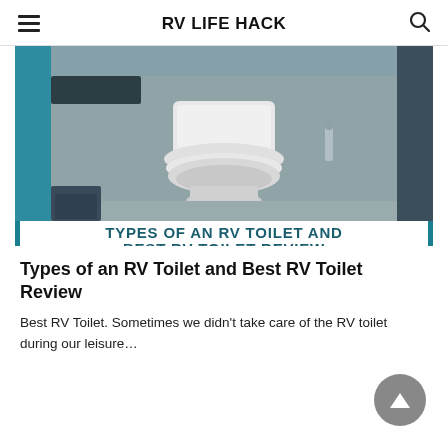RV LIFE HACK
[Figure (photo): Composite image showing an RV bathroom with a white toilet, teal border, with overlaid text reading 'TYPES OF AN RV TOILET AND BEST RV TOILET REVIEW' and rvlifehack.com URL]
Types of an RV Toilet and Best RV Toilet Review
Best RV Toilet. Sometimes we didn't take care of the RV toilet during our leisure…